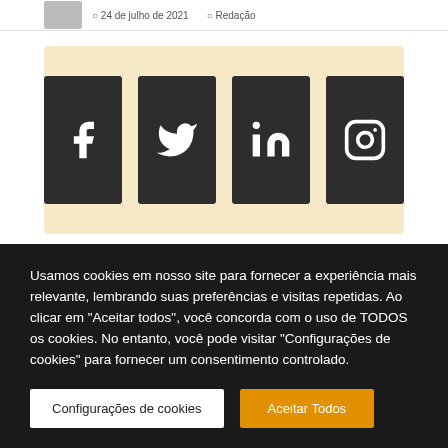24 de julho de 2021  Redação
[Figure (infographic): Social share buttons: Facebook, Twitter, LinkedIn, Instagram on a beige/tan background]
MAIS LIDAS
[Figure (photo): Thumbnail image for article about batatas]
Tempo de cozimento: batatas
Usamos cookies em nosso site para fornecer a experiência mais relevante, lembrando suas preferências e visitas repetidas. Ao clicar em "Aceitar todos", você concorda com o uso de TODOS os cookies. No entanto, você pode visitar "Configurações de cookies" para fornecer um consentimento controlado.
Configurações de cookies
Aceitar Todos